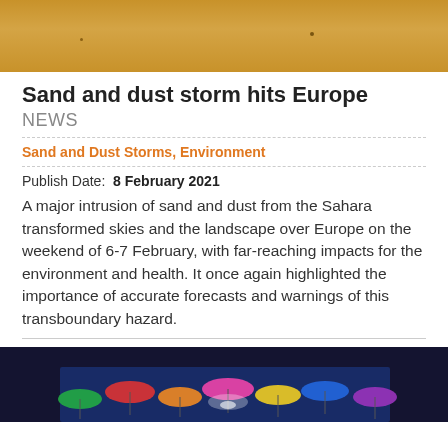[Figure (photo): Sandy/desert landscape photo cropped at top, sandy orange/brown tones]
Sand and dust storm hits Europe
NEWS
Sand and Dust Storms, Environment
Publish Date: 8 February 2021
A major intrusion of sand and dust from the Sahara transformed skies and the landscape over Europe on the weekend of 6-7 February, with far-reaching impacts for the environment and health. It once again highlighted the importance of accurate forecasts and warnings of this transboundary hazard.
[Figure (photo): Colorful umbrellas against a blue sky, viewed from below]